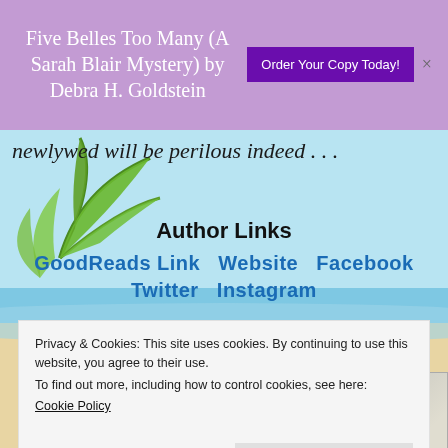Five Belles Too Many (A Sarah Blair Mystery) by Debra H. Goldstein
Order Your Copy Today!
newlywed will be perilous indeed . . .
Author Links
GoodReads Link   Website   Facebook
Twitter   Instagram
The Rest of the Series
[Figure (photo): Three book covers from the series]
Privacy & Cookies: This site uses cookies. By continuing to use this website, you agree to their use.
To find out more, including how to control cookies, see here:
Cookie Policy
Close and accept